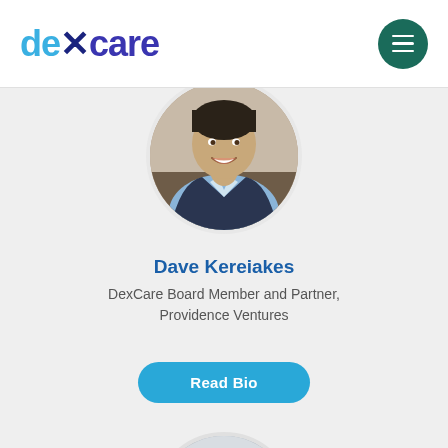[Figure (logo): DexCare logo with stylized 'dexcare' text in blue and purple]
[Figure (photo): Circular profile photo of Dave Kereiakes, a smiling man in a suit]
Dave Kereiakes
DexCare Board Member and Partner, Providence Ventures
Read Bio
[Figure (photo): Circular profile photo of a second person, older man with grey hair]